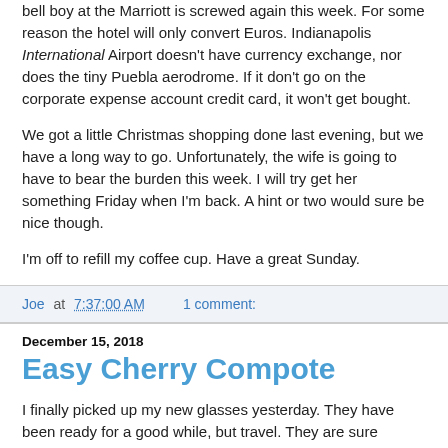bell boy at the Marriott is screwed again this week. For some reason the hotel will only convert Euros. Indianapolis International Airport doesn't have currency exchange, nor does the tiny Puebla aerodrome. If it don't go on the corporate expense account credit card, it won't get bought.
We got a little Christmas shopping done last evening, but we have a long way to go. Unfortunately, the wife is going to have to bear the burden this week. I will try get her something Friday when I'm back. A hint or two would sure be nice though.
I'm off to refill my coffee cup. Have a great Sunday.
Joe at 7:37:00 AM    1 comment:
December 15, 2018
Easy Cherry Compote
I finally picked up my new glasses yesterday. They have been ready for a good while, but travel. They are sure